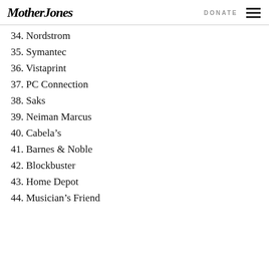Mother Jones | DONATE
34. Nordstrom
35. Symantec
36. Vistaprint
37. PC Connection
38. Saks
39. Neiman Marcus
40. Cabela’s
41. Barnes & Noble
42. Blockbuster
43. Home Depot
44. Musician’s Friend